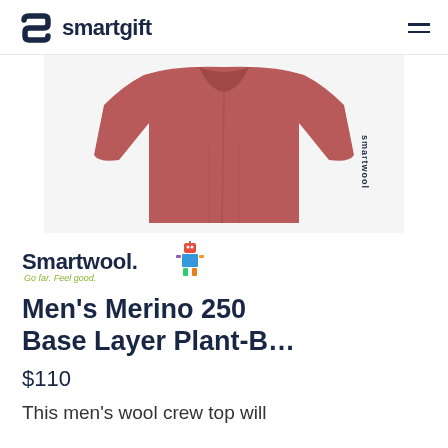smartgift
[Figure (photo): Dusty rose/mauve colored men's long sleeve Merino wool base layer top (Smartwool brand) laid flat, showing front and sleeves with 'smartwool' text printed vertically on the left sleeve]
[Figure (logo): Smartwool brand logo with colorful robot mascot figure and tagline 'Go far. Feel good.']
Men's Merino 250 Base Layer Plant-B...
$110
This men's wool crew top will